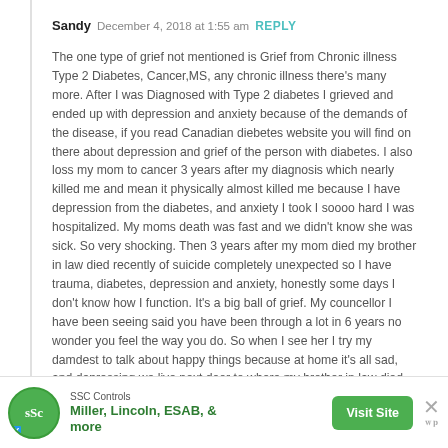Sandy  December 4, 2018 at 1:55 am  REPLY
The one type of grief not mentioned is Grief from Chronic illness Type 2 Diabetes, Cancer,MS, any chronic illness there's many more. After I was Diagnosed with Type 2 diabetes I grieved and ended up with depression and anxiety because of the demands of the disease, if you read Canadian diebetes website you will find on there about depression and grief of the person with diabetes. I also loss my mom to cancer 3 years after my diagnosis which nearly killed me and mean it physically almost killed me because I have depression from the diabetes, and anxiety I took I soooo hard I was hospitalized. My moms death was fast and we didn't know she was sick. So very shocking. Then 3 years after my mom died my brother in law died recently of suicide completely unexpected so I have trauma, diabetes, depression and anxiety, honestly some days I don't know how I function. It's a big ball of grief. My councellor I have been seeing said you have been through a lot in 6 years no wonder you feel the way you do. So when I see her I try my damdest to talk about happy things because at home it's all sad, and depressing we live next door to where my brother in law died constant reminder everyday. ?
[Figure (other): Heart icon (like/reaction button)]
[Figure (other): Advertisement banner: SSC Controls - Miller, Lincoln, ESAB, & more - Visit Site button]